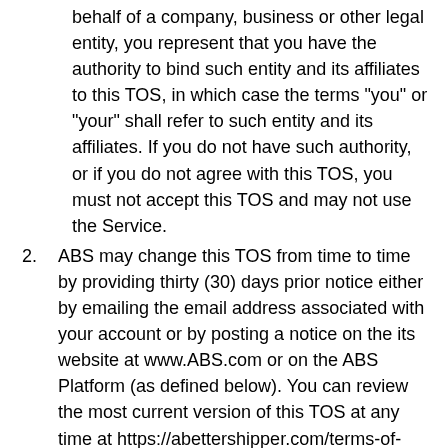behalf of a company, business or other legal entity, you represent that you have the authority to bind such entity and its affiliates to this TOS, in which case the terms "you" or "your" shall refer to such entity and its affiliates. If you do not have such authority, or if you do not agree with this TOS, you must not accept this TOS and may not use the Service.
2. ABS may change this TOS from time to time by providing thirty (30) days prior notice either by emailing the email address associated with your account or by posting a notice on the its website at www.ABS.com or on the ABS Platform (as defined below). You can review the most current version of this TOS at any time at https://abettershipper.com/terms-of-service/ or by logging into your account on the ABS Platform. The revised terms and conditions will become effective thirty (30) days after we post